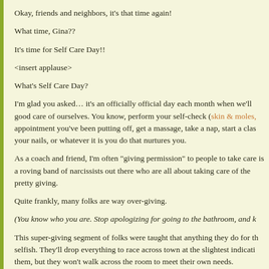Okay, friends and neighbors, it's that time again!
What time, Gina??
It's time for Self Care Day!!
<insert applause>
What's Self Care Day?
I'm glad you asked… it's an officially official day each month when we'll good care of ourselves. You know, perform your self-check (skin & moles, appointment you've been putting off, get a massage, take a nap, start a class, your nails, or whatever it is you do that nurtures you.
As a coach and friend, I'm often "giving permission" to people to take care is a roving band of narcissists out there who are all about taking care of the pretty giving.
Quite frankly, many folks are way over-giving.
(You know who you are. Stop apologizing for going to the bathroom, and k
This super-giving segment of folks were taught that anything they do for th selfish. They'll drop everything to race across town at the slightest indicati them, but they won't walk across the room to meet their own needs.